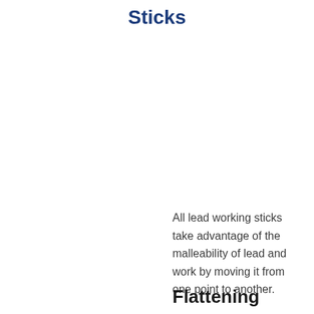Sticks
All lead working sticks take advantage of the malleability of lead and work by moving it from one point to another.
Flattening